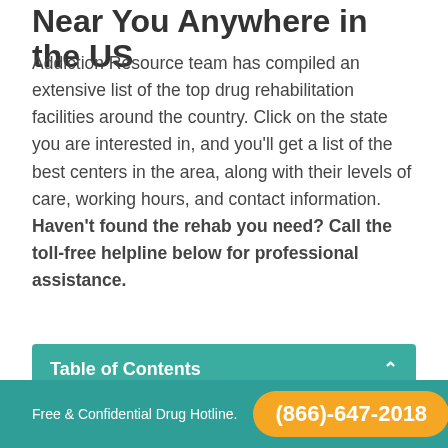Near You Anywhere in the US
Addiction Resource team has compiled an extensive list of the top drug rehabilitation facilities around the country. Click on the state you are interested in, and you'll get a list of the best centers in the area, along with their levels of care, working hours, and contact information. Haven't found the rehab you need? Call the toll-free helpline below for professional assistance.
Table of Contents
[Figure (map): Partial map of the United States showing state outlines with abbreviations including OR, MT, ND, MN, WI, NY, ME, ID, SD, WY]
Free & Confidential Drug Hotline. (866)-647-2018